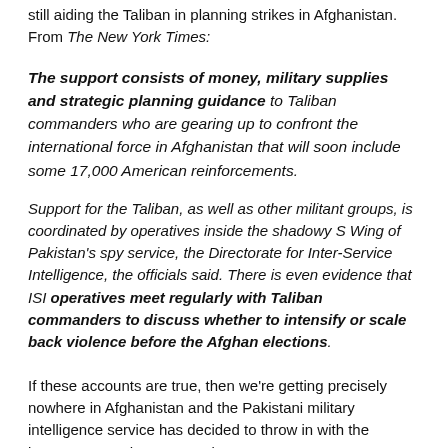still aiding the Taliban in planning strikes in Afghanistan. From The New York Times:
The support consists of money, military supplies and strategic planning guidance to Taliban commanders who are gearing up to confront the international force in Afghanistan that will soon include some 17,000 American reinforcements.
Support for the Taliban, as well as other militant groups, is coordinated by operatives inside the shadowy S Wing of Pakistan's spy service, the Directorate for Inter-Service Intelligence, the officials said. There is even evidence that ISI operatives meet regularly with Taliban commanders to discuss whether to intensify or scale back violence before the Afghan elections.
If these accounts are true, then we're getting precisely nowhere in Afghanistan and the Pakistani military intelligence service has decided to throw in with the insurgency on that assumption.